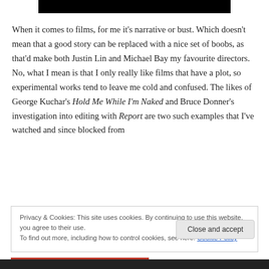[Figure (other): Black rectangular bar at top center of page]
When it comes to films, for me it's narrative or bust. Which doesn't mean that a good story can be replaced with a nice set of boobs, as that'd make both Justin Lin and Michael Bay my favourite directors. No, what I mean is that I only really like films that have a plot, so experimental works tend to leave me cold and confused. The likes of George Kuchar's Hold Me While I'm Naked and Bruce Donner's investigation into editing with Report are two such examples that I've watched and since blocked from
Privacy & Cookies: This site uses cookies. By continuing to use this website, you agree to their use.
To find out more, including how to control cookies, see here: Cookie Policy
Close and accept